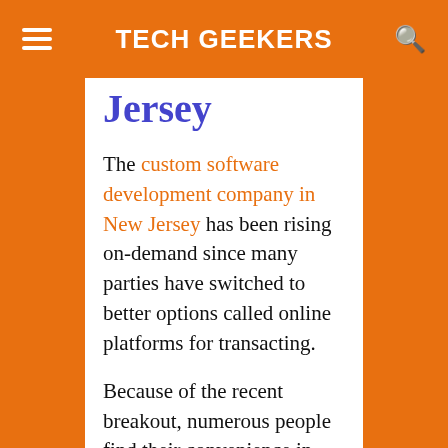TECH GEEKERS
Jersey
The custom software development company in New Jersey has been rising on-demand since many parties have switched to better options called online platforms for transacting.
Because of the recent breakout, numerous people find their convenience in using online services rather than visiting physical stores. You know what happened lately. It is still pretty risky to get outside of your apartment or room to purchase some stuff from the physical market.